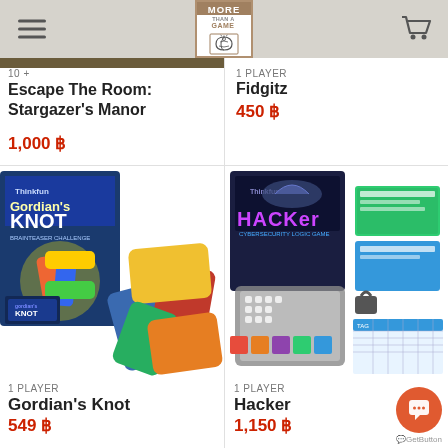More Than A Game — navigation header with logo and cart
10 +
Escape The Room: Stargazer's Manor
1,000 ฿
1 PLAYER
Fidgitz
450 ฿
[Figure (photo): Gordian's Knot puzzle game box and colorful interlocking 3D puzzle pieces]
1 PLAYER
Gordian's Knot
549 ฿
[Figure (photo): Hacker cybersecurity logic game box with game board, cards, tokens and lock accessories]
1 PLAYER
Hacker
1,150 ฿